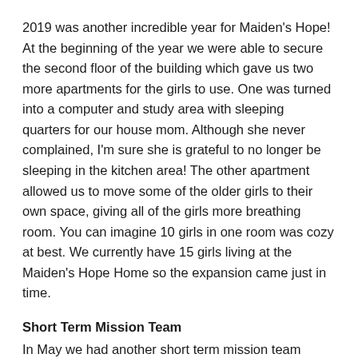2019 was another incredible year for Maiden's Hope! At the beginning of the year we were able to secure the second floor of the building which gave us two more apartments for the girls to use. One was turned into a computer and study area with sleeping quarters for our house mom. Although she never complained, I'm sure she is grateful to no longer be sleeping in the kitchen area! The other apartment allowed us to move some of the older girls to their own space, giving all of the girls more breathing room. You can imagine 10 girls in one room was cozy at best. We currently have 15 girls living at the Maiden's Hope Home so the expansion came just in time.
Short Term Mission Team
In May we had another short term mission team arrive in the Philippines to do ministry with and for the Maiden's